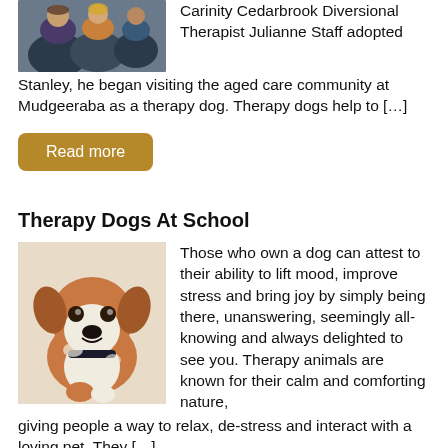[Figure (photo): Photo of therapy dog with people, top left of page]
Carinity Cedarbrook Diversional Therapist Julianne Staff adopted Stanley, he began visiting the aged care community at Mudgeeraba as a therapy dog. Therapy dogs help to […]
Read more
Therapy Dogs At School
[Figure (photo): Close-up photo of a brown and white dog (therapy dog) looking at camera]
Those who own a dog can attest to their ability to lift mood, improve stress and bring joy by simply being there, unanswering, seemingly all-knowing and always delighted to see you.  Therapy animals are known for their calm and comforting nature, giving people a way to relax, de-stress and interact with a loving pet.  They […]